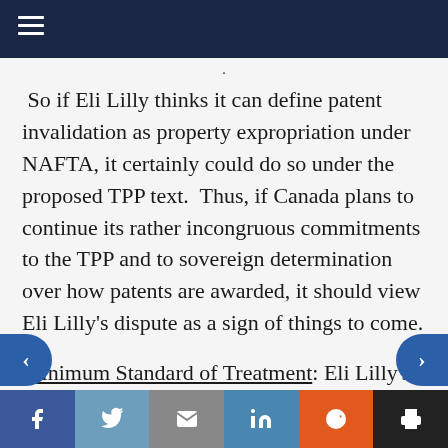Navigation menu bar
So if Eli Lilly thinks it can define patent invalidation as property expropriation under NAFTA, it certainly could do so under the proposed TPP text.  Thus, if Canada plans to continue its rather incongruous commitments to the TPP and to sovereign determination over how patents are awarded, it should view Eli Lilly's dispute as a sign of things to come.
Minimum Standard of Treatment: Eli Lilly's second claim against Canada is that the
Social share bar: Facebook, Twitter, Email, LinkedIn, Reddit, Print